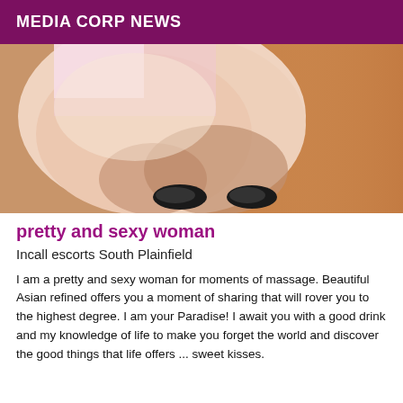MEDIA CORP NEWS
[Figure (photo): Close-up photo of a person's legs and feet on a wooden floor surface with a pink/white background]
pretty and sexy woman
Incall escorts South Plainfield
I am a pretty and sexy woman for moments of massage. Beautiful Asian refined offers you a moment of sharing that will rover you to the highest degree. I am your Paradise! I await you with a good drink and my knowledge of life to make you forget the world and discover the good things that life offers ... sweet kisses.